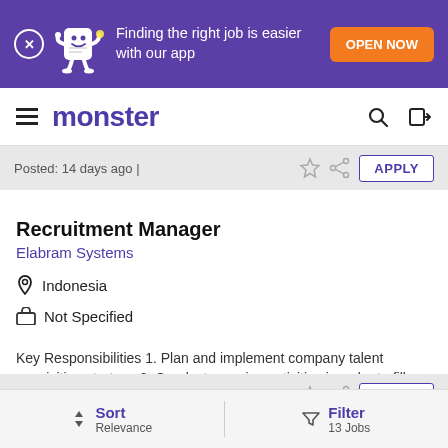[Figure (screenshot): Monster job board app banner: purple background with mascot, 'Finding the right job is easier with our app' text and orange OPEN NOW button]
monster
Posted: 14 days ago |
Recruitment Manager
Elabram Systems
Indonesia
Not Specified
Key Responsibilities 1. Plan and implement company talent acquisition strategy 2. Conduct sourcing activities in order to fill ...
Posted: 14 days ago |
Sort Relevance | Filter 13 Jobs